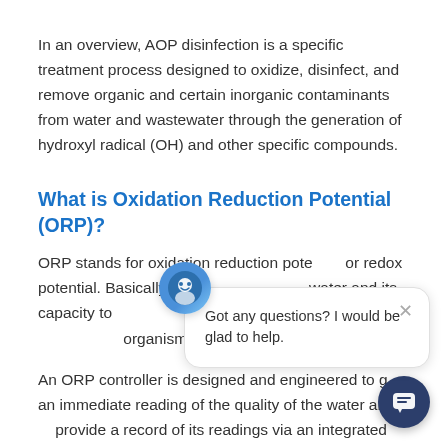In an overview, AOP disinfection is a specific treatment process designed to oxidize, disinfect, and remove organic and certain inorganic contaminants from water and wastewater through the generation of hydroxyl radical (OH) and other specific compounds.
What is Oxidation Reduction Potential (ORP)?
ORP stands for oxidation reduction potential or redox potential. Basically, it is [partially obscured] water and its capacity to [partially obscured] organisms based on the [partially obscured] organisms and contami[partially obscured]
An ORP controller is designed and engineered to g[partially obscured] an immediate reading of the quality of the water and[partially obscured] provide a record of its readings via an integrated